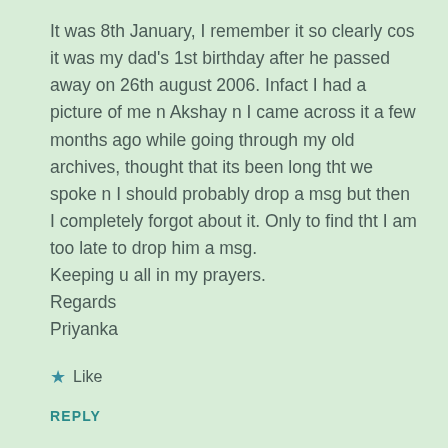It was 8th January, I remember it so clearly cos it was my dad's 1st birthday after he passed away on 26th august 2006. Infact I had a picture of me n Akshay n I came across it a few months ago while going through my old archives, thought that its been long tht we spoke n I should probably drop a msg but then I completely forgot about it. Only to find tht I am too late to drop him a msg.
Keeping u all in my prayers.
Regards
Priyanka
★ Like
REPLY